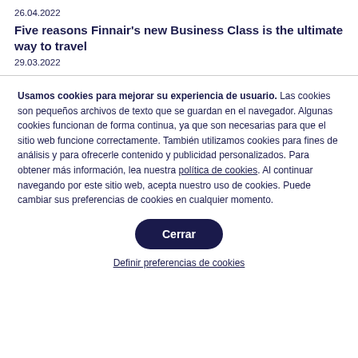26.04.2022
Five reasons Finnair's new Business Class is the ultimate way to travel
29.03.2022
Usamos cookies para mejorar su experiencia de usuario. Las cookies son pequeños archivos de texto que se guardan en el navegador. Algunas cookies funcionan de forma continua, ya que son necesarias para que el sitio web funcione correctamente. También utilizamos cookies para fines de análisis y para ofrecerle contenido y publicidad personalizados. Para obtener más información, lea nuestra política de cookies. Al continuar navegando por este sitio web, acepta nuestro uso de cookies. Puede cambiar sus preferencias de cookies en cualquier momento.
Cerrar
Definir preferencias de cookies